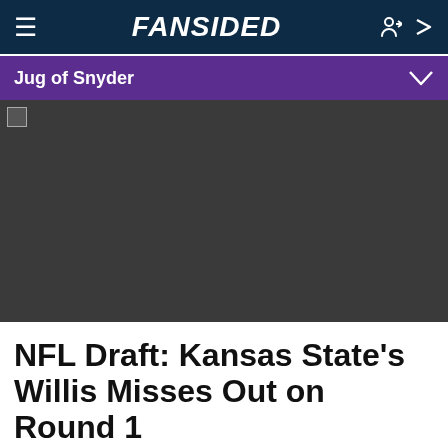FANSIDED
Jug of Snyder
[Figure (photo): Dark placeholder image area for article hero photo]
NFL Draft: Kansas State's Willis Misses Out on Round 1